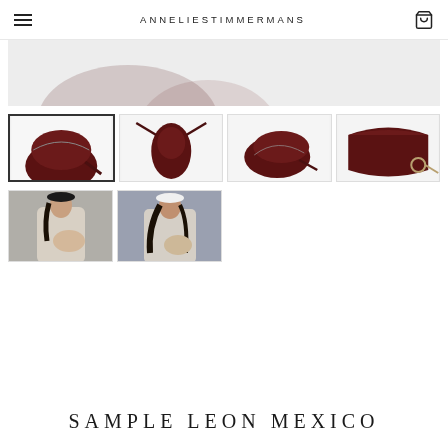ANNELIESTIMMERMANS
[Figure (photo): Partial view of a dark burgundy leather crossbody bag, cropped/scrolled hero image]
[Figure (photo): Thumbnail 1 (selected): Dark burgundy half-moon crossbody bag, front view on white background]
[Figure (photo): Thumbnail 2: Dark burgundy bag viewed from above/back on white background]
[Figure (photo): Thumbnail 3: Dark burgundy half-moon bag, side angled view on white background]
[Figure (photo): Thumbnail 4: Close-up of dark burgundy bag flap and strap hardware on white background]
[Figure (photo): Thumbnail 5: Woman in neutral coat wearing/holding a beige bag outdoors]
[Figure (photo): Thumbnail 6: Woman in white cap and neutral coat holding a beige bag outdoors]
SAMPLE LEON MEXICO